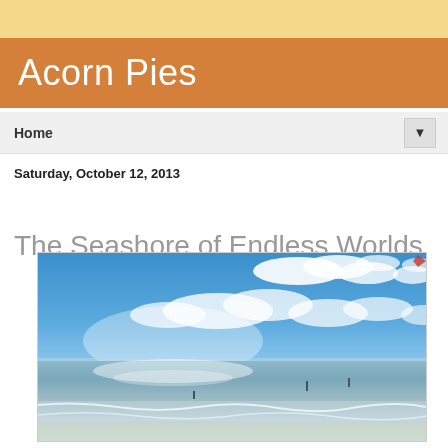Acorn Pies
Home
Saturday, October 12, 2013
The Seashore of Endless Worlds
[Figure (photo): A beach seashore photograph showing blue sky with white clouds, ocean waves, and a sandy beach. Several people or objects are visible in the distance near the water.]